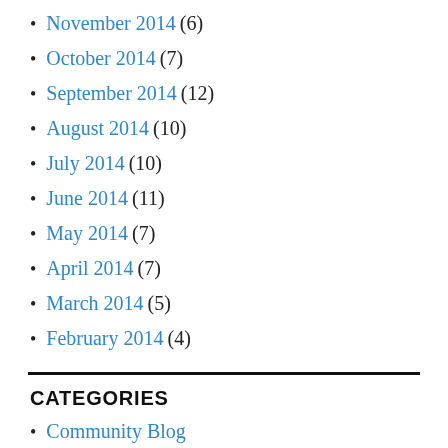November 2014 (6)
October 2014 (7)
September 2014 (12)
August 2014 (10)
July 2014 (10)
June 2014 (11)
May 2014 (7)
April 2014 (7)
March 2014 (5)
February 2014 (4)
CATEGORIES
Community Blog